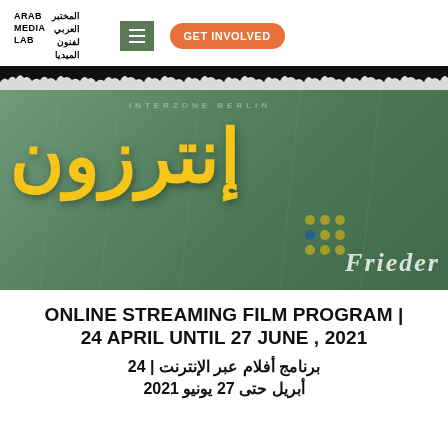ARAB MEDIA LAB | المختبر العربي لفنون الميديا
[Figure (illustration): Crowd silhouette bar illustration]
[Figure (photo): Film banner with large golden Arabic text (Interzone / إنترزون) over a green-tinted background with text 'FRIEDER' at bottom]
ONLINE STREAMING FILM PROGRAM | 24 APRIL UNTIL 27 JUNE , 2021
برنامج أفلام عبر الإنترنت | 24 أبريل حتى 27 يونيو 2021